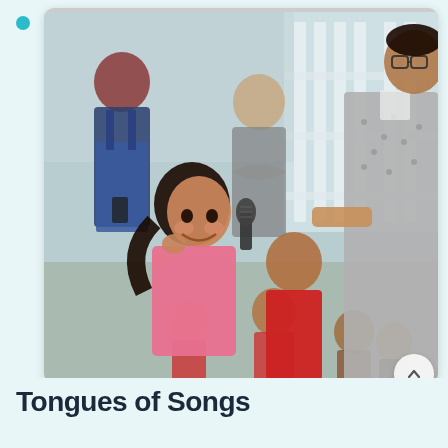[Figure (photo): An adult man holding a microphone toward a young smiling girl in a pink jacket, surrounded by a group of children and two women standing in the background, outdoors near a white gate/fence. The scene appears to be a children's event or singing activity.]
Tongues of Songs